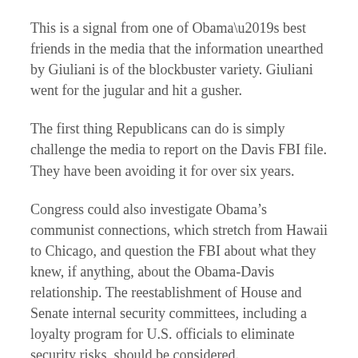This is a signal from one of Obama’s best friends in the media that the information unearthed by Giuliani is of the blockbuster variety. Giuliani went for the jugular and hit a gusher.
The first thing Republicans can do is simply challenge the media to report on the Davis FBI file. They have been avoiding it for over six years.
Congress could also investigate Obama’s communist connections, which stretch from Hawaii to Chicago, and question the FBI about what they knew, if anything, about the Obama-Davis relationship. The reestablishment of House and Senate internal security committees, including a loyalty program for U.S. officials to eliminate security risks, should be considered.
Republicans could remind people that it was anti-communist Democratic President Harry Truman who started the first loyalty program. He issued executive order 9835 establishing the program in 1947.
The executive order said that “each employee of the